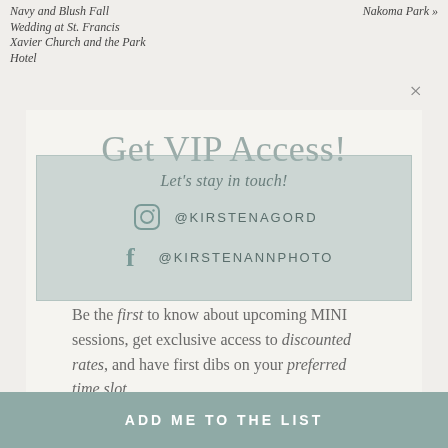Navy and Blush Fall Wedding at St. Francis Xavier Church and the Park Hotel
Nakoma Park »
Get VIP Access!
Be the first to know about upcoming MINI sessions, get exclusive access to discounted rates, and have first dibs on your preferred time slot.
Let's stay in touch!
@KIRSTENAGORD
@KIRSTENANNPHOTO
First name
Last name
Email address
ADD ME TO THE LIST